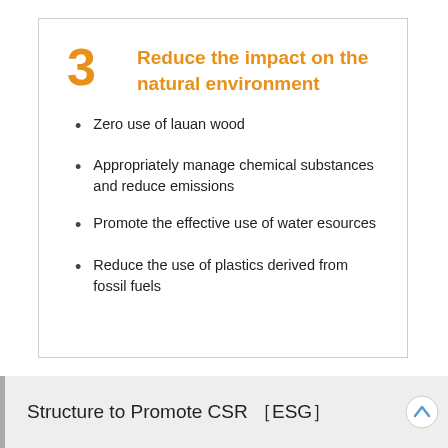3 Reduce the impact on the natural environment
Zero use of lauan wood
Appropriately manage chemical substances and reduce emissions
Promote the effective use of water esources
Reduce the use of plastics derived from fossil fuels
Structure to Promote CSR ［ESG］